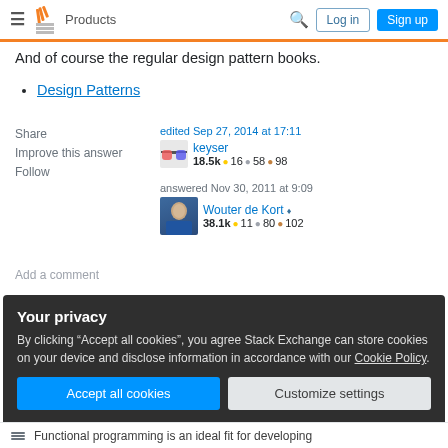≡  [Stack Overflow logo]  Products  🔍  Log in  Sign up
And of course the regular design pattern books.
Design Patterns
Share
Improve this answer
Follow
edited Sep 27, 2014 at 17:11
keyser
18.5k ● 16 ● 58 ● 98
answered Nov 30, 2011 at 9:09
Wouter de Kort ♦
38.1k ● 11 ● 80 ● 102
Add a comment
Your privacy
By clicking "Accept all cookies", you agree Stack Exchange can store cookies on your device and disclose information in accordance with our Cookie Policy.
Accept all cookies  Customize settings
Functional programming is an ideal fit for developing